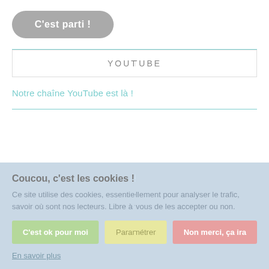[Figure (other): Gray rounded button with white text reading 'C'est parti !']
YOUTUBE
Notre chaîne YouTube est là !
Coucou, c'est les cookies !
Ce site utilise des cookies, essentiellement pour analyser le trafic, savoir où sont nos lecteurs. Libre à vous de les accepter ou non.
[Figure (other): Three buttons: 'C'est ok pour moi' (green), 'Paramétrer' (yellow), 'Non merci, ça ira' (red/pink)]
En savoir plus